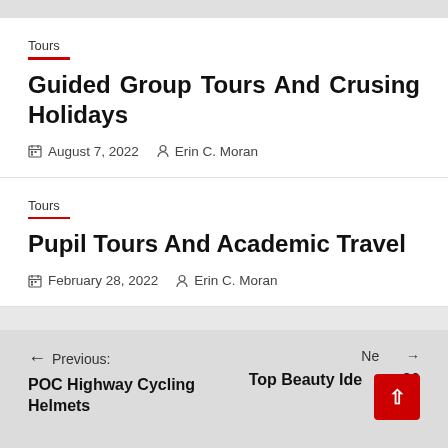Tours
Guided Group Tours And Crusing Holidays
August 7, 2022   Erin C. Moran
Tours
Pupil Tours And Academic Travel
February 28, 2022   Erin C. Moran
← Previous: POC Highway Cycling Helmets    Next: Top Beauty Ide... 2020 →